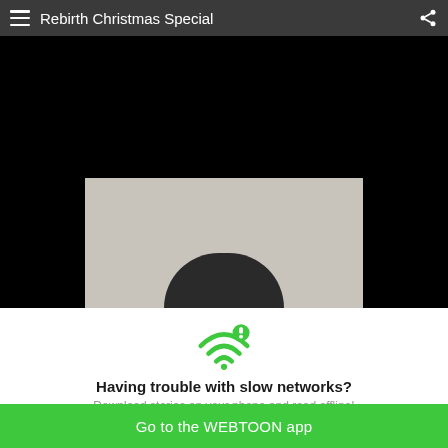Rebirth Christmas Special
[Figure (screenshot): Webtoon comic reader showing a partially loaded comic page with black background and a partially visible comic panel at the bottom showing a grey background with a dark figure silhouette.]
[Figure (infographic): Green WiFi icon with an exclamation mark badge indicating slow network warning.]
Having trouble with slow networks?
Download stories on your phone and read offline!
Go to the WEBTOON app